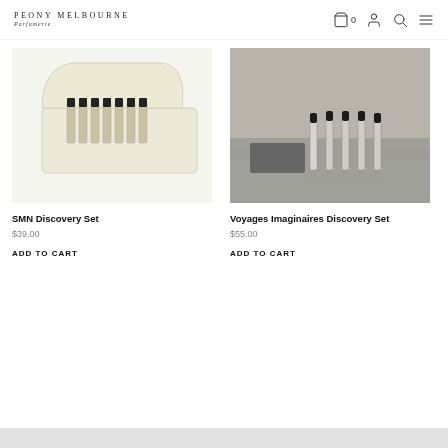PEONY MELBOURNE Parfumerie
[Figure (photo): SMN Discovery Set product photo: cream-colored box with multiple small black-capped perfume vials arranged in a row]
SMN Discovery Set
$39.00
ADD TO CART
[Figure (photo): Voyages Imaginaires Discovery Set product photo: five small glass perfume bottles with black caps on a grey surface, in black and white]
Voyages Imaginaires Discovery Set
$55.00
ADD TO CART